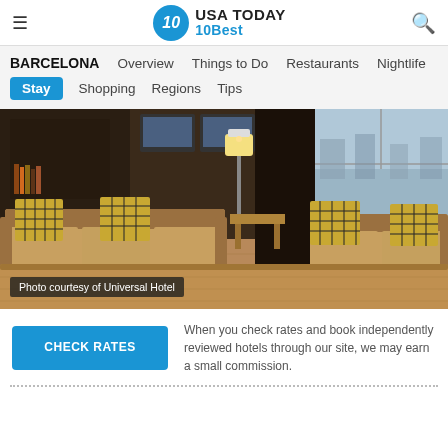USA TODAY 10Best
BARCELONA  Overview  Things to Do  Restaurants  Nightlife  Stay  Shopping  Regions  Tips
[Figure (photo): Hotel lobby with brown leather sofas, plaid throw pillows, wooden coffee tables, a floor lamp, and large windows. Text overlay: Photo courtesy of Universal Hotel]
Photo courtesy of Universal Hotel
When you check rates and book independently reviewed hotels through our site, we may earn a small commission.